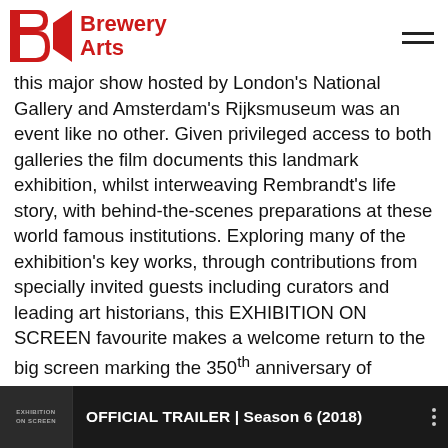Brewery Arts
this major show hosted by London’s National Gallery and Amsterdam’s Rijksmuseum was an event like no other. Given privileged access to both galleries the film documents this landmark exhibition, whilst interweaving Rembrandt’s life story, with behind-the-scenes preparations at these world famous institutions. Exploring many of the exhibition’s key works, through contributions from specially invited guests including curators and leading art historians, this EXHIBITION ON SCREEN favourite makes a welcome return to the big screen marking the 350th anniversary of Rembrandt’s death. For many, Rembrandt is the greatest artist that ever lived and this deeply moving film seeks to explore the truth about the man behind the legend.
[Figure (screenshot): Video thumbnail bar showing 'OFFICIAL TRAILER | Season 6 (2018)' with Exhibition on Screen logo on dark background]